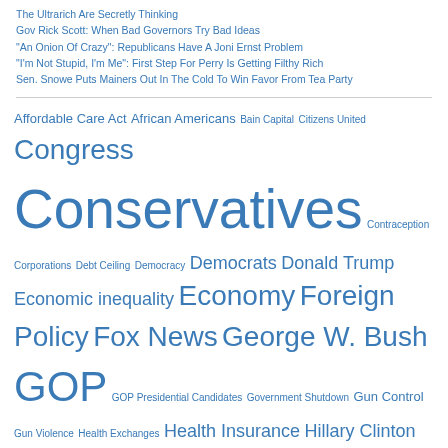The Ultrarich Are Secretly Thinking
Gov Rick Scott: When Bad Governors Try Bad Ideas
"An Onion Of Crazy": Republicans Have A Joni Ernst Problem
"I'm Not Stupid, I'm Me": First Step For Perry Is Getting Filthy Rich
Sen. Snowe Puts Mainers Out In The Cold To Win Favor From Tea Party
Affordable Care Act African Americans Bain Capital Citizens United Congress Conservatives Contraception Corporations Debt Ceiling Democracy Democrats Donald Trump Economic inequality Economy Foreign Policy Fox News George W. Bush GOP GOP Presidential Candidates Government Shutdown Gun Control Gun Violence Health Exchanges Health Insurance Hillary Clinton House Republicans Immigration Immigration Reform Iraq War ISIS Jeb Bush Jobs John Boehner John McCain Koch Brothers Lindsey